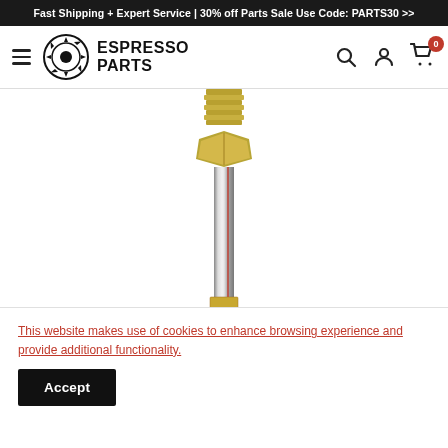Fast Shipping + Expert Service | 30% off Parts Sale Use Code: PARTS30 >>
[Figure (logo): Espresso Parts logo with circular gear icon and bold text reading ESPRESSO PARTS]
[Figure (photo): Close-up photo of a brass threaded fitting/connector with a metal tube, positioned vertically against white background]
This website makes use of cookies to enhance browsing experience and provide additional functionality.
Accept